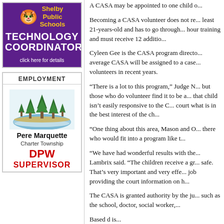[Figure (illustration): Shelby Public Schools advertisement with tiger logo and purple background, promoting Technology Coordinator position with 'click here for details' text]
EMPLOYMENT
[Figure (logo): Pere Marquette Charter Township logo with illustrated trees and water, advertising DPW Supervisor position]
A CASA may be appointed to one child o...
Becoming a CASA volunteer does not re... least 21-years-old and has to go through... hour training and must receive 12 additio...
Cyleen Gee is the CASA program directo... average CASA will be assigned to a case... volunteers in recent years.
“There is a lot to this program,” Judge N... but those who do volunteer find it to be a... that child isn’t easily responsive to the C... court what is in the best interest of the ch...
“One thing about this area, Mason and O... there who would fit into a program like t...
“We have had wonderful results with the... Lambrix said. “The children receive a gr... safe. That’s very important and very effe... job providing the court information on h...
The CASA is granted authority by the ju... such as the school, doctor, social worker,...
Based d is...